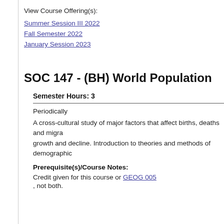View Course Offering(s):
Summer Session III 2022
Fall Semester 2022
January Session 2023
SOC 147 - (BH) World Population
Semester Hours: 3
Periodically
A cross-cultural study of major factors that affect births, deaths and migration, growth and decline. Introduction to theories and methods of demographic
Prerequisite(s)/Course Notes:
Credit given for this course or GEOG 005
, not both.